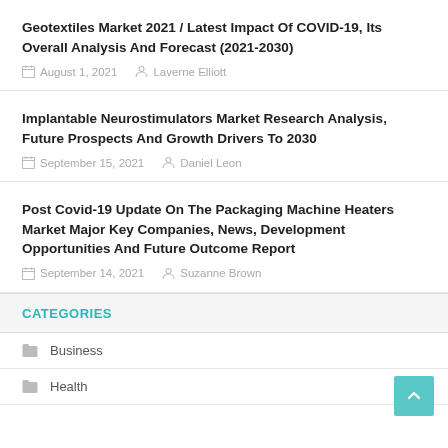Geotextiles Market 2021 / Latest Impact Of COVID-19, Its Overall Analysis And Forecast (2021-2030)
August 1, 2021   Laverne Elliott
Implantable Neurostimulators Market Research Analysis, Future Prospects And Growth Drivers To 2030
September 15, 2021   Daniel Leon
Post Covid-19 Update On The Packaging Machine Heaters Market Major Key Companies, News, Development Opportunities And Future Outcome Report
September 14, 2021   Suzanne Brown
CATEGORIES
Business
Health